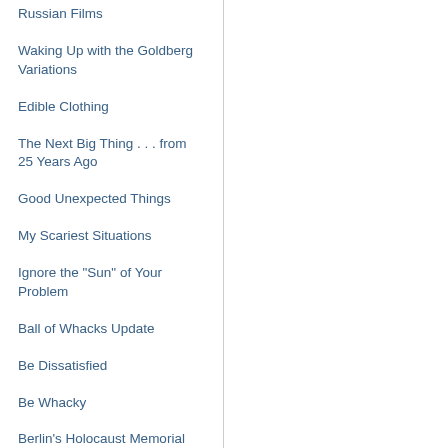Russian Films
Waking Up with the Goldberg Variations
Edible Clothing
The Next Big Thing . . . from 25 Years Ago
Good Unexpected Things
My Scariest Situations
Ignore the "Sun" of Your Problem
Ball of Whacks Update
Be Dissatisfied
Be Whacky
Berlin's Holocaust Memorial
Breastfeeding Icons
Crawling in the Cu Chi Tunnels